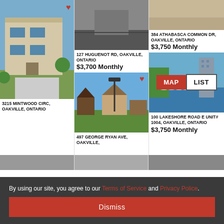[Figure (photo): Exterior photo of modern townhouse at 3215 Mintwood Circ]
3215 MINTWOOD CIRC, OAKVILLE, ONTARIO
[Figure (photo): Aerial or road photo for 127 Huguenot Rd]
127 HUGUENOT RD, OAKVILLE, ONTARIO
$3,700 Monthly
[Figure (photo): Street view of house at 497 George Ryan Ave]
497 GEORGE RYAN AVE, OAKVILLE,
[Figure (photo): Partial top photo for 384 Athabasca Common Dr]
384 ATHABASCA COMMON DR, OAKVILLE, ONTARIO
$3,750 Monthly
[Figure (photo): Marina/waterfront photo for 100 Lakeshore Road E Unit# 1004]
100 LAKESHORE ROAD E UNIT# 1004, OAKVILLE, ONTARIO
$3,750 Monthly
By using our site, you agree to our Terms of Service and Privacy Police.
Dismiss